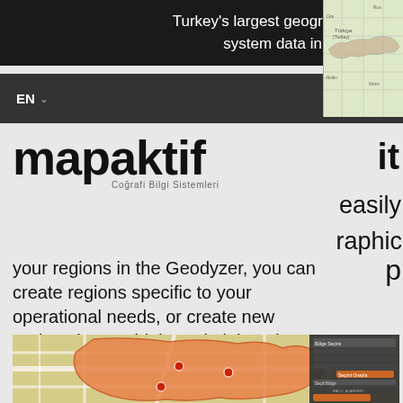Turkey's largest geographic information system data in Mapaktif!
[Figure (map): Small map thumbnail showing Turkey region in top right corner]
EN  ☰
[Figure (logo): Mapaktif logo with text 'Coğrafi Bilgi Sistemleri' below]
your regions in the Geodyzer, you can create regions specific to your operational needs, or create new regions by combining administrative regions (province, district, neighborhood, etc.).
[Figure (screenshot): Map screenshot showing an orange highlighted region on a street map with a settings panel on the right side]